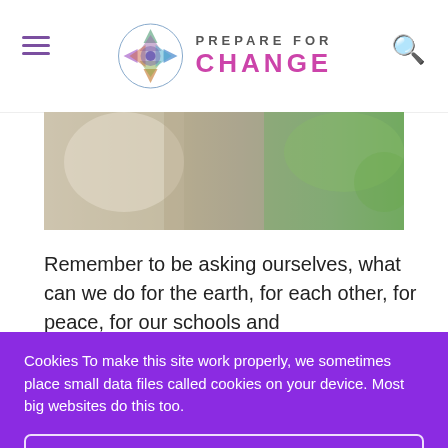Prepare For Change — website header with hamburger menu, logo, and search icon
[Figure (photo): Partial nature/animal photograph showing fur and green foliage background]
Remember to be asking ourselves, what can we do for the earth, for each other, for peace, for our schools and neighborhoods, for healthy food and diet, for our bodies and
Cookies To make this site work properly, we sometimes place small data files called cookies on your device. Most big websites do this too.
✓ Accept
Change Settings ⚙